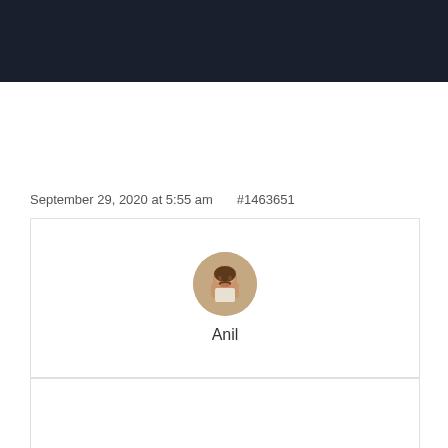September 29, 2020 at 5:55 am    #1463651
[Figure (photo): Avatar photo of user Anil with name label below]
Hi